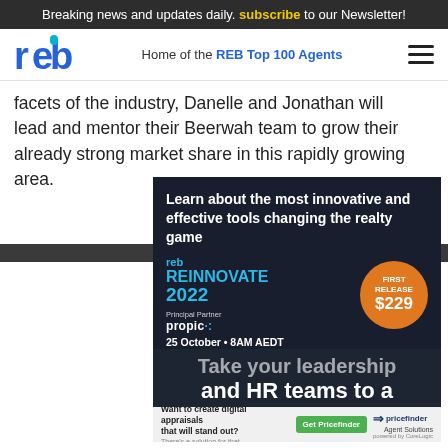Breaking news and updates daily. subscribe to our Newsletter!
Home of the REB Top 100 Agents
facets of the industry, Danelle and Jonathan will lead and mentor their Beerwah team to grow their already strong market share in this rapidly growing area.
[Figure (screenshot): REB Reinnovate 2022 advertisement: Learn about the most innovative and effective tools changing the realty game. 25 October • 8AM AEDT, Pullman Melbourne on the Park. Principal Partner: propic. First Release $229.]
[Figure (screenshot): Partially visible ad text: Take your leadership and HR teams to a]
[Figure (screenshot): Pricefinder Agent Solutions ad: Want to create digital appraisals that will stand out? There's a solution for that. Get Pricefinder button.]